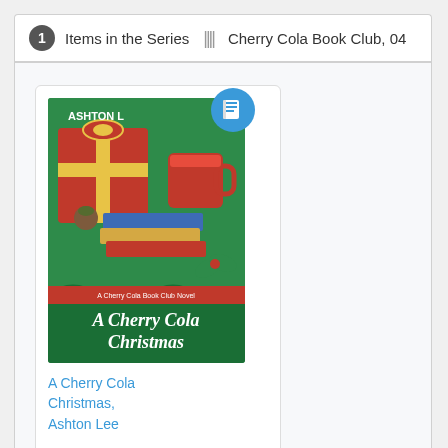1 Items in the Series ||| Cherry Cola Book Club, 04
[Figure (illustration): Book cover for 'A Cherry Cola Christmas' by Ashton Lee. Green cover with holiday gifts, books, and a red mug with the title in script text. An ebook badge icon (book icon in blue circle) is overlaid top-right.]
A Cherry Cola Christmas, Ashton Lee
Borrow it
Data from Cherry Cola Book Club, 04